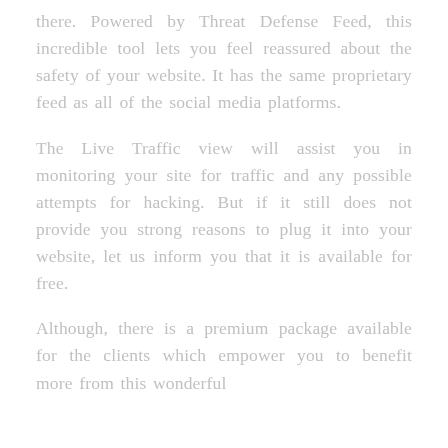there. Powered by Threat Defense Feed, this incredible tool lets you feel reassured about the safety of your website. It has the same proprietary feed as all of the social media platforms.
The Live Traffic view will assist you in monitoring your site for traffic and any possible attempts for hacking. But if it still does not provide you strong reasons to plug it into your website, let us inform you that it is available for free.
Although, there is a premium package available for the clients which empower you to benefit more from this wonderful